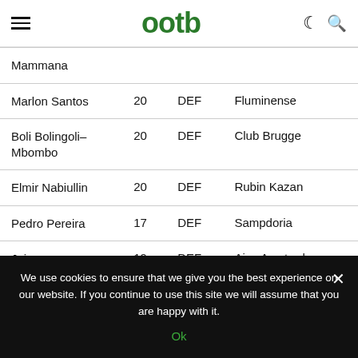ootb
| Mammana |  |  |  |
| Marlon Santos | 20 | DEF | Fluminense |
| Boli Bolingoli-Mbombo | 20 | DEF | Club Brugge |
| Elmir Nabiullin | 20 | DEF | Rubin Kazan |
| Pedro Pereira | 17 | DEF | Sampdoria |
| Jairo Riedewald | 19 | DEF | Ajax Amsterdam |
We use cookies to ensure that we give you the best experience on our website. If you continue to use this site we will assume that you are happy with it. Ok